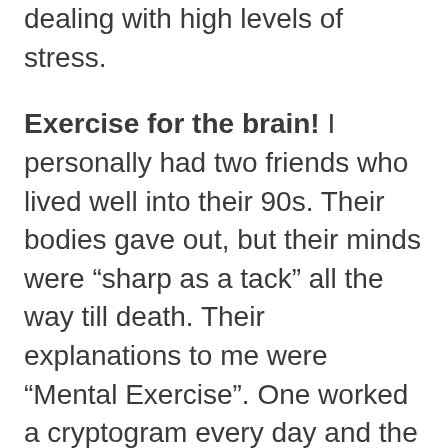dealing with high levels of stress.
Exercise for the brain! I personally had two friends who lived well into their 90s. Their bodies gave out, but their minds were “sharp as a tack” all the way till death. Their explanations to me were “Mental Exercise”. One worked a cryptogram every day and the other worked crossword puzzles every day! On the other hand, I personally know of dozens of customers who have retired to a sedentary lifestyle of hours of mindless TV every day who died within a couple of years of retirement. Find